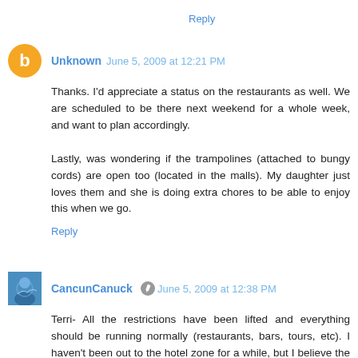Reply
Unknown  June 5, 2009 at 12:21 PM
Thanks. I'd appreciate a status on the restaurants as well. We are scheduled to be there next weekend for a whole week, and want to plan accordingly.

Lastly, was wondering if the trampolines (attached to bungy cords) are open too (located in the malls). My daughter just loves them and she is doing extra chores to be able to enjoy this when we go.
Reply
CancunCanuck  June 5, 2009 at 12:38 PM
Terri- All the restrictions have been lifted and everything should be running normally (restaurants, bars, tours, etc). I haven't been out to the hotel zone for a while, but I believe the bungy jumpy thingies are operating (my son loves them too!). Try the Plaza Forum in the evenings or Plaza la Isla.